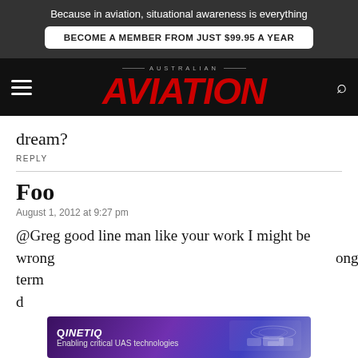Because in aviation, situational awareness is everything
BECOME A MEMBER FROM JUST $99.95 A YEAR
[Figure (logo): Australian Aviation logo with red italic AVIATION text on black background, hamburger menu icon on left, search icon on right]
dream?
REPLY
Foo
August 1, 2012 at 9:27 pm
@Greg good line man like your work I might be wrong… ong term d… a
[Figure (infographic): QinetiQ ad banner: purple/gradient background with text 'QinetiQ' and 'Enabling critical UAS technologies', with drone/vehicle imagery on right]